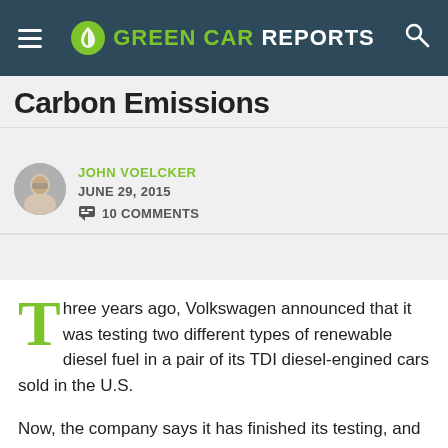GREEN CAR REPORTS
Carbon Emissions
JOHN VOELCKER
JUNE 29, 2015
💬 10 COMMENTS
Three years ago, Volkswagen announced that it was testing two different types of renewable diesel fuel in a pair of its TDI diesel-engined cars sold in the U.S.

Now, the company says it has finished its testing, and the results are in.